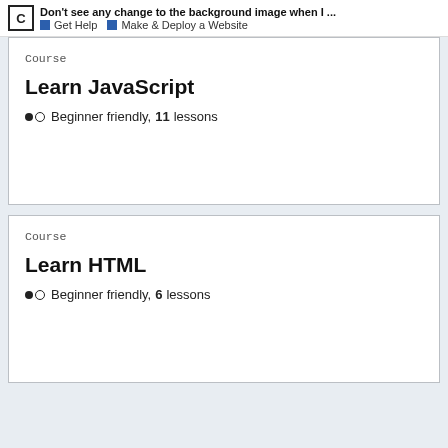Don't see any change to the background image when I … · Get Help · Make & Deploy a Website
Course
Learn JavaScript
Beginner friendly, 11 lessons
Course
Learn HTML
Beginner friendly, 6 lessons